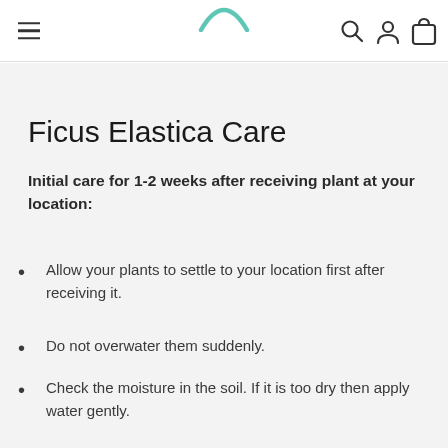Navigation bar with hamburger menu, search, user, and bag icons
Ficus Elastica Care
Initial care for 1-2 weeks after receiving plant at your location:
Allow your plants to settle to your location first after receiving it.
Do not overwater them suddenly.
Check the moisture in the soil. If it is too dry then apply water gently.
Keep the plant in indirect bright light. Gradually move it to more bright location.